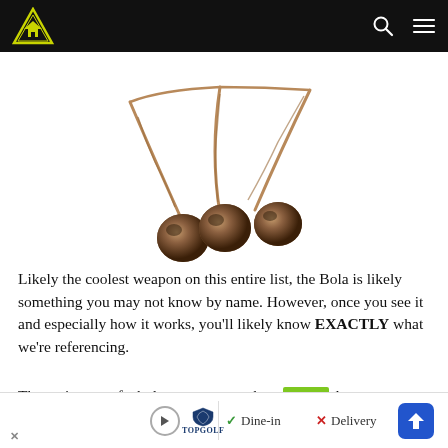Navigation bar with logo and icons
[Figure (photo): A bola weapon with three brown spherical weights connected by twisted rope/cord strands against a white background]
Likely the coolest weapon on this entire list, the Bola is likely something you may not know by name. However, once you see it and especially how it works, you'll likely know EXACTLY what we're referencing.
The entire use of a bola was meant to be a [green block]al
[Figure (other): Advertisement banner: Topgolf logo with Dine-in checkmark and Delivery X options, and a navigation arrow button]